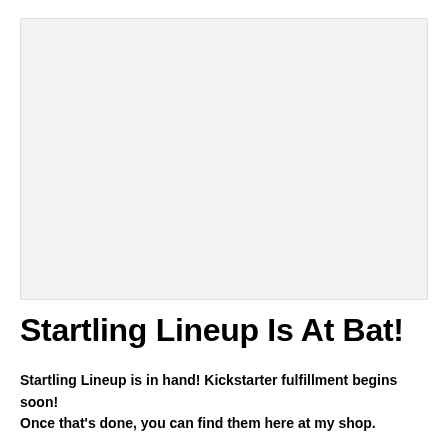[Figure (photo): Large light gray placeholder image area]
Startling Lineup Is At Bat!
Startling Lineup is in hand! Kickstarter fulfillment begins soon!
Once that's done, you can find them here at my shop.